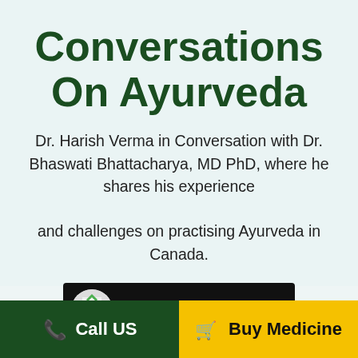Conversations On Ayurveda
Dr. Harish Verma in Conversation with Dr. Bhaswati Bhattacharya, MD PhD, where he shares his experience and challenges on practising Ayurveda in Canada.
[Figure (screenshot): Video player bar showing Dr. Bhaswati Bhattac... with a colorful logo on black background]
Call US
Buy Medicine